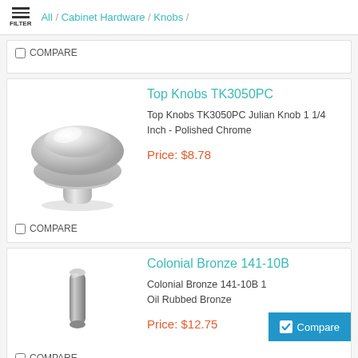All / Cabinet Hardware / Knobs /
COMPARE
[Figure (photo): Chrome round cabinet knob - Top Knobs TK3050PC Julian Knob, polished chrome finish]
Top Knobs TK3050PC
Top Knobs TK3050PC Julian Knob 1 1/4 Inch - Polished Chrome
Price: $8.78
COMPARE
[Figure (photo): Small cylindrical cabinet knob - Colonial Bronze 141-10B, Oil Rubbed Bronze finish]
Colonial Bronze 141-10B
Colonial Bronze 141-10B 1 Oil Rubbed Bronze
Price: $12.75
COMPARE